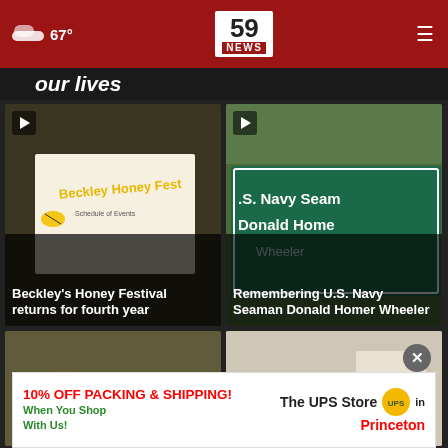67° | 59 NEWS
our lives
[Figure (screenshot): Video thumbnail for Beckley's Honey Festival with play button and overlay title]
Beckley's Honey Festival returns for fourth year
[Figure (screenshot): Video thumbnail showing green highway sign for U.S. Navy Seaman Donald Homer Wheeler Bridge with play button]
Remembering U.S. Navy Seaman Donald Homer Wheeler
[Figure (photo): Bottom left thumbnail image, partially visible]
[Figure (photo): Bottom right thumbnail image, partially visible]
10% OFF PACKING & SHIPPING! When You Shop With Us! The UPS Store in Princeton